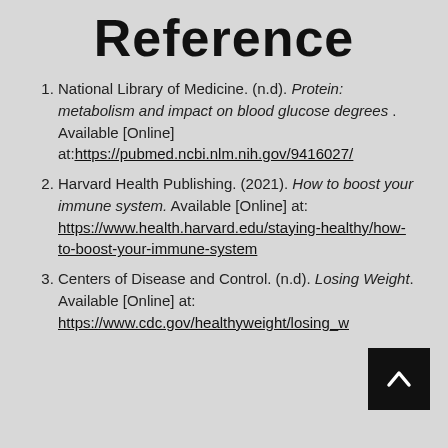Reference
National Library of Medicine. (n.d). Protein: metabolism and impact on blood glucose degrees . Available [Online] at: https://pubmed.ncbi.nlm.nih.gov/9416027/
Harvard Health Publishing. (2021). How to boost your immune system. Available [Online] at: https://www.health.harvard.edu/staying-healthy/how-to-boost-your-immune-system
Centers of Disease and Control. (n.d). Losing Weight. Available [Online] at: https://www.cdc.gov/healthyweight/losing_w